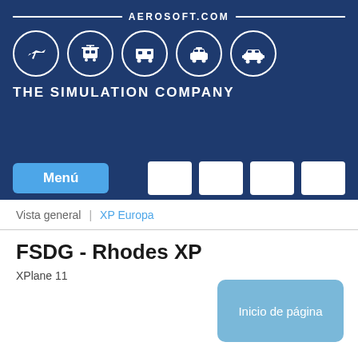AEROSOFT.COM — THE SIMULATION COMPANY
[Figure (logo): Aerosoft logo banner with five circular transport icons (airplane, tram, bus, police car, jeep) on dark blue background with text AEROSOFT.COM and THE SIMULATION COMPANY]
Menú
Vista general | XP Europa
FSDG - Rhodes XP
XPlane 11
Inicio de página